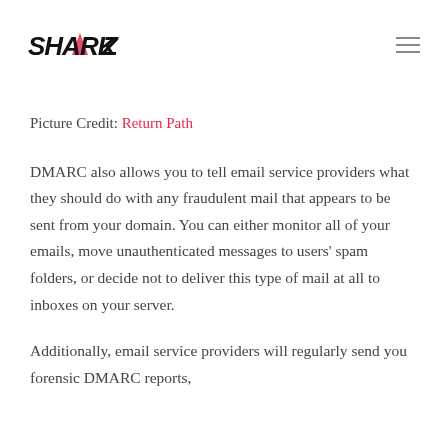SHARKZ [logo with hamburger menu]
Picture Credit: Return Path
DMARC also allows you to tell email service providers what they should do with any fraudulent mail that appears to be sent from your domain. You can either monitor all of your emails, move unauthenticated messages to users' spam folders, or decide not to deliver this type of mail at all to inboxes on your server.
Additionally, email service providers will regularly send you forensic DMARC reports,